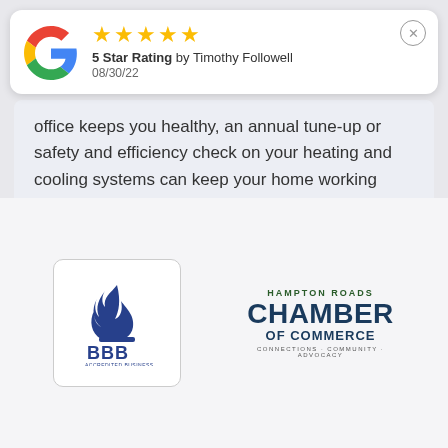[Figure (screenshot): Google review card showing 5 star rating by Timothy Followell dated 08/30/22, with Google G logo and close button]
office keeps you healthy, an annual tune-up or safety and efficiency check on your heating and cooling systems can keep your home working smoothly.
Read more
[Figure (logo): Better Business Bureau (BBB) logo with blue flame icon and BBB text]
[Figure (logo): Hampton Roads Chamber of Commerce logo with green and navy text]